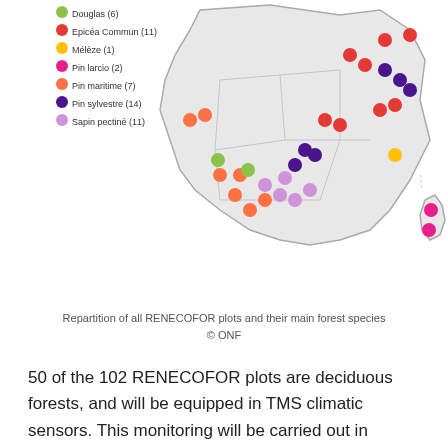[Figure (map): Map of France showing the repartition of RENECOFOR forest monitoring plots by main tree species, with colored dots indicating species locations. Legend shows: Douglas (6), Epicéa Commun (11), Mélèze (1), Pin larcio (2), Pin maritime (7), Pin sylvestre (14), Sapin pectiné (11).]
Repartition of all RENECOFOR plots and their main forest species
© ONF
50 of the 102 RENECOFOR plots are deciduous forests, and will be equipped in TMS climatic sensors. This monitoring will be carried out in partnership with ONF agents in charge of the network.